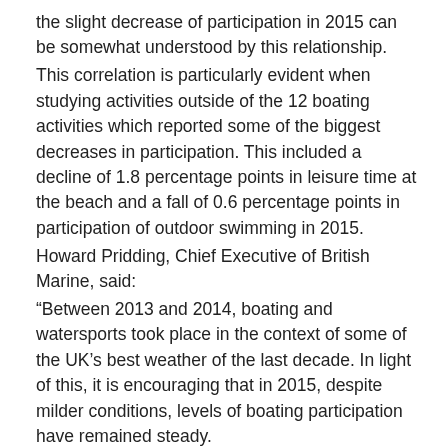the slight decrease of participation in 2015 can be somewhat understood by this relationship. This correlation is particularly evident when studying activities outside of the 12 boating activities which reported some of the biggest decreases in participation. This included a decline of 1.8 percentage points in leisure time at the beach and a fall of 0.6 percentage points in participation of outdoor swimming in 2015. Howard Pridding, Chief Executive of British Marine, said: “Between 2013 and 2014, boating and watersports took place in the context of some of the UK’s best weather of the last decade. In light of this, it is encouraging that in 2015, despite milder conditions, levels of boating participation have remained steady. “The forthcoming months offer tremendous opportunities to encourage more people to get out on the water. By building on the exposure that the 2016 Olympics & Paralympics and the Louis Vuitton America’s Cup World Series brings to our industry, more people will be able to take the chance to safely enjoy the rich experiences that being on the water can provide.”